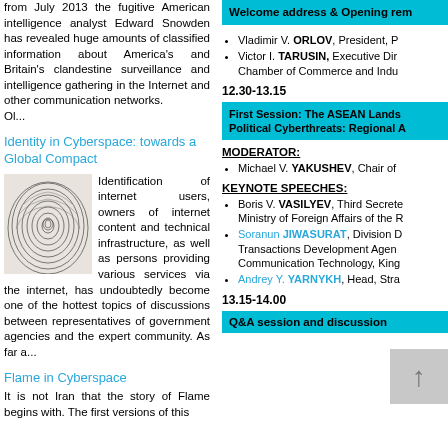from July 2013 the fugitive American intelligence analyst Edward Snowden has revealed huge amounts of classified information about America's and Britain's clandestine surveillance and intelligence gathering in the Internet and other communication networks.
Ol...
Identity in Cyberspace: towards a Global Compact
[Figure (photo): A black and white fingerprint image]
Identification of internet users, owners of internet content and technical infrastructure, as well as persons providing various services via the internet, has undoubtedly become one of the hottest topics of discussions between representatives of government agencies and the expert community. As far a...
Flame in Cyberspace
It is not Iran that the story of Flame begins with. The first versions of this
Welcome address & Opening rem
Vladimir V. ORLOV, President, P
Victor I. TARUSIN, Executive Dir Chamber of Commerce and Indu
12.30-13.15
First Session: The ASEAN Lands Political Cyberthreats: Regional A
MODERATOR:
Michael V. YAKUSHEV, Chair of
KEYNOTE SPEECHES:
Boris V. VASILYEV, Third Secrete Ministry of Foreign Affairs of the R
Soranun JIWASURAT, Division D Transactions Development Agen Communication Technology, King
Andrey Y. YARNYKH, Head, Stra
13.15-14.00
Q&A session and discussion